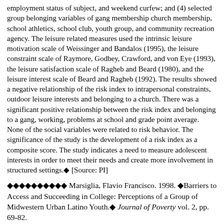employment status of subject, and weekend curfew; and (4) selected group belonging variables of gang membership church membership, school athletics, school club, youth group, and community recreation agency. The leisure related measures used the intrinsic leisure motivation scale of Weissinger and Bandalos (1995), the leisure constraint scale of Raymore, Godbey, Crawford, and von Eye (1993), the leisure satisfaction scale of Ragheb and Beard (1980), and the leisure interest scale of Beard and Ragheb (1992). The results showed a negative relationship of the risk index to intrapersonal constraints, outdoor leisure interests and belonging to a church. There was a significant positive relationship between the risk index and belonging to a gang, working, problems at school and grade point average. None of the social variables were related to risk behavior. The significance of the study is the development of a risk index as a composite score. The study indicates a need to measure adolescent interests in order to meet their needs and create more involvement in structured settings.◆ [Source: PI]
◆◆◆◆◆◆◆◆◆◆ Marsiglia, Flavio Francisco. 1998. ◆Barriers to Access and Succeeding in College: Perceptions of a Group of Midwestern Urban Latino Youth.◆ Journal of Poverty vol. 2, pp. 69-82.
◆◆◆◆◆◆◆◆◆ Abstract: To explore Latino youths' perceptions of their chances of entering & succeeding in college, participant observation & survey data were gathered from 64 Hispanic youths in a community college or a church youth group in a major midwestern city. Respondents (Rs) had a shared perception that Latino students were not welcome at area colleges; they identified a series of logistic, culture-specific, & self-efficacy barriers that impeded them from fully benefiting from a college education. Based on the data, to improve the college life, a commitment to...